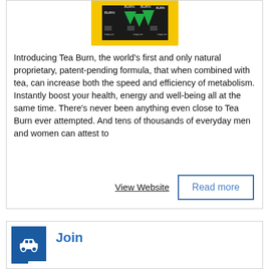[Figure (photo): Tea Burn product image on yellow background with green and dark packaging showing 'BURN' text]
Introducing Tea Burn, the world's first and only natural proprietary, patent-pending formula, that when combined with tea, can increase both the speed and efficiency of metabolism. Instantly boost your health, energy and well-being all at the same time. There's never been anything even close to Tea Burn ever attempted. And tens of thousands of everyday men and women can attest to
View Website
Read more
[Figure (illustration): Blue square icon with white car silhouette]
Join